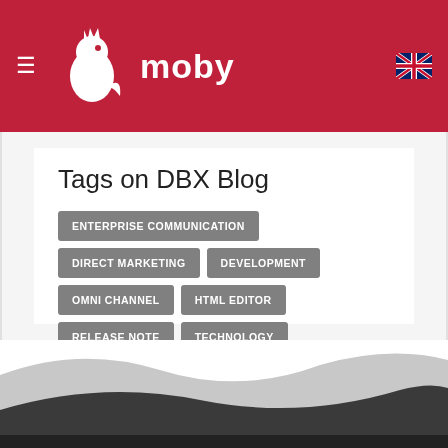moby
Tags on DBX Blog
ENTERPRISE COMMUNICATION
DIRECT MARKETING
DEVELOPMENT
OMNI CHANNEL
HTML EDITOR
RELEASE NOTE
TECHNOLOGY
OMNI-CHANNEL
DIGITALIZATION
FULFILLED REGULATIONS
BUSINESS
WYSIWYG
DRAG AND DROP
EVENT
INSURTECH
MOBY
CONFERENCE
PORTFOLIO.HU